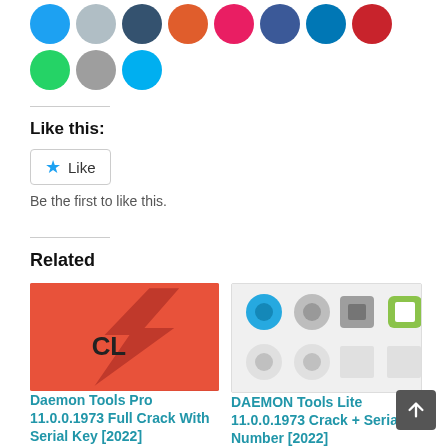[Figure (infographic): Row of social media share icon circles: Twitter (blue), email (light gray), Tumblr (dark navy), Reddit (orange), pink heart, Facebook (dark blue), LinkedIn (blue), Pinterest (red), WhatsApp (green), print (gray), Skype (cyan blue)]
Like this:
Like
Be the first to like this.
Related
[Figure (photo): Daemon Tools Pro logo: red background with lightning bolt and CL text]
Daemon Tools Pro 11.0.0.1973 Full Crack With Serial Key [2022]
[Figure (screenshot): DAEMON Tools Lite interface screenshot showing app icons in a grid: Images, Drives, Settings, Contacts in top row; Image Editor, Burn, VHD, iSCSI in bottom row]
DAEMON Tools Lite 11.0.0.1973 Crack + Serial Number [2022]
DAEMON Tools Lite 11.0.0.1973 Crack Full Key... [2022]